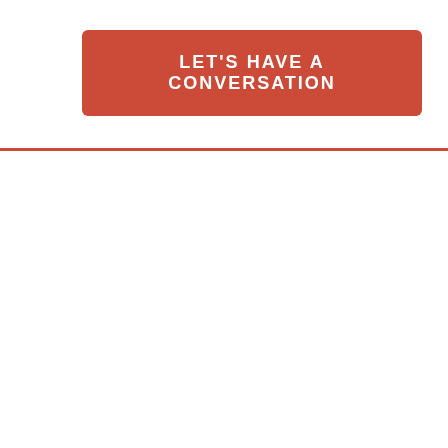LET'S HAVE A CONVERSATION
[Figure (other): Horizontal red divider line]